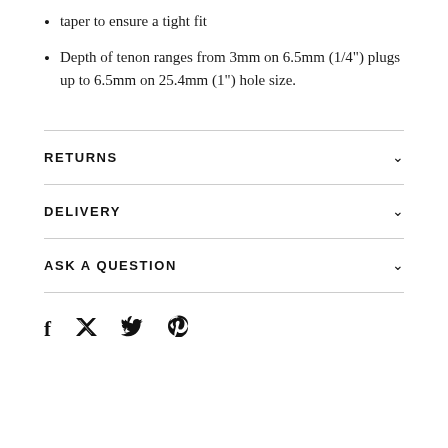taper to ensure a tight fit
Depth of tenon ranges from 3mm on 6.5mm (1/4") plugs up to 6.5mm on 25.4mm (1") hole size.
RETURNS
DELIVERY
ASK A QUESTION
f  𝕏  𝒫